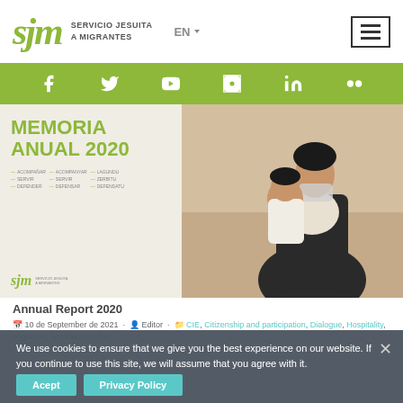[Figure (screenshot): SJM website header with logo 'sjm', text 'SERVICIO JESUITA A MIGRANTES', language selector 'EN', and hamburger menu icon]
[Figure (infographic): Green social media bar with icons for Facebook, Twitter, YouTube, Instagram, LinkedIn, and Flickr]
[Figure (photo): Cover of Memoria Anual 2020 (Annual Report 2020) showing a woman holding a child wearing a mask, with multilingual taglines and SJM logo]
Annual Report 2020
10 de September de 2021 · Editor · CIE, Citizenship and participation, Dialogue, Hospitality, Migration, Southern border
We use cookies to ensure that we give you the best experience on our website. If you continue to use this site, we will assume that you agree with it.